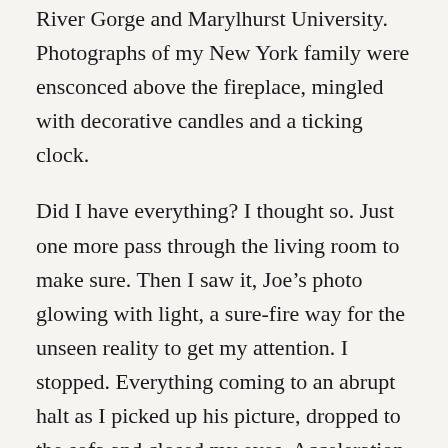River Gorge and Marylhurst University. Photographs of my New York family were ensconced above the fireplace, mingled with decorative candles and a ticking clock.
Did I have everything? I thought so. Just one more pass through the living room to make sure. Then I saw it, Joe’s photo glowing with light, a sure-fire way for the unseen reality to get my attention. I stopped. Everything coming to an abrupt halt as I picked up his picture, dropped to the sofa and closed my eyes. Acceleration and tension drained from my body. I softened and exhaled. Joe was in the hospital in upstate New York but his spirit was there with me.